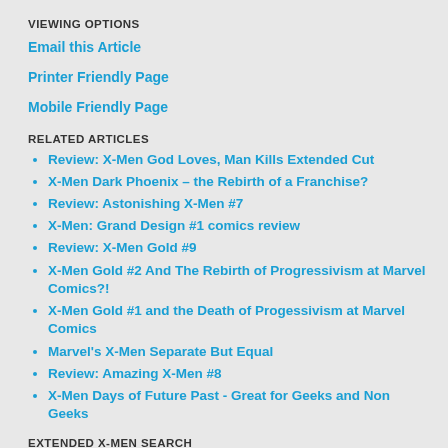VIEWING OPTIONS
Email this Article
Printer Friendly Page
Mobile Friendly Page
RELATED ARTICLES
Review: X-Men God Loves, Man Kills Extended Cut
X-Men Dark Phoenix – the Rebirth of a Franchise?
Review: Astonishing X-Men #7
X-Men: Grand Design #1 comics review
Review: X-Men Gold #9
X-Men Gold #2 And The Rebirth of Progressivism at Marvel Comics?!
X-Men Gold #1 and the Death of Progessivism at Marvel Comics
Marvel's X-Men Separate But Equal
Review: Amazing X-Men #8
X-Men Days of Future Past - Great for Geeks and Non Geeks
EXTENDED X-MEN SEARCH
Tag "X-Men"